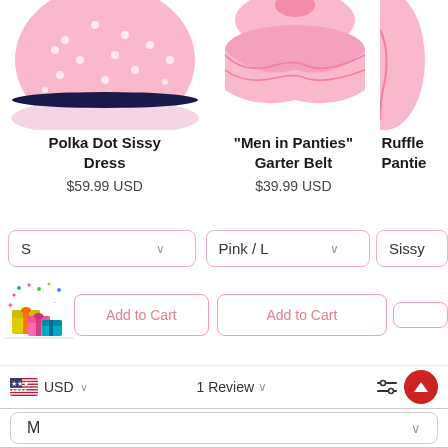[Figure (photo): Cropped top portion of a pink polka dot sissy dress with black trim at hem]
[Figure (photo): Cropped top portion of a pink ruffled garter belt garment]
[Figure (photo): Cropped top portion of a pink ruffle panties product (partially visible)]
Polka Dot Sissy Dress
$59.99 USD
"Men in Panties" Garter Belt
$39.99 USD
Ruffle Pantie
S
Pink / L
Sissy
Add to Cart
Add to Cart
[Figure (illustration): Colorful gift boxes illustration with confetti]
USD
1 Review
M
1
ADD TO CART